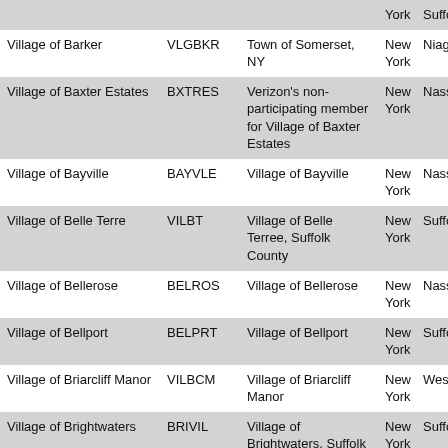|  |  |  | New York | Suffolk |
| --- | --- | --- | --- | --- |
| Village of Barker | VLGBKR | Town of Somerset, NY | New York | Niagara |
| Village of Baxter Estates | BXTRES | Verizon's non-participating member for Village of Baxter Estates | New York | Nassau |
| Village of Bayville | BAYVLE | Village of Bayville | New York | Nassau |
| Village of Belle Terre | VILBT | Village of Belle Terree, Suffolk County | New York | Suffolk |
| Village of Bellerose | BELROS | Village of Bellerose | New York | Nassau |
| Village of Bellport | BELPRT | Village of Bellport | New York | Suffolk |
| Village of Briarcliff Manor | VILBCM | Village of Briarcliff Manor | New York | Westche |
| Village of Brightwaters | BRIVIL | Village of Brightwaters, Suffolk County, Town of Islip | New York | Suffolk |
| Village of Brockport | BRKPRT | Village of Brockport – Monroe County | New York | Monroe |
| Village of Bronxville | BRNXVL | Westchester County | New | Westche |